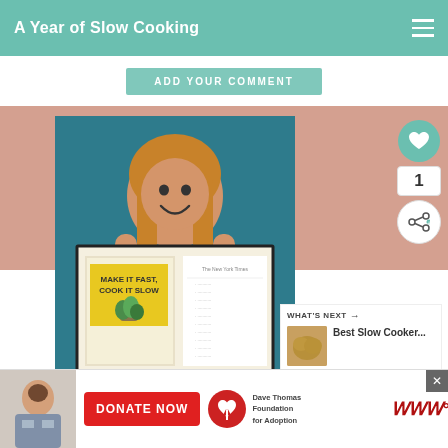A Year of Slow Cooking
[Figure (screenshot): Website screenshot of 'A Year of Slow Cooking' blog showing a person holding a book titled 'Make it Fast, Cook it Slow' with a teal background, like/share sidebar buttons showing count of 1, and a 'What's Next' panel for 'Best Slow Cooker...' with a thumbnail image]
WHAT'S NEXT →
Best Slow Cooker...
DONATE NOW
Dave Thomas Foundation for Adoption